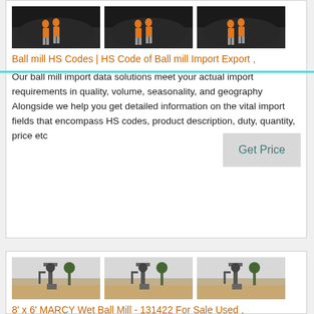[Figure (photo): Three thumbnails of workers in orange vests standing near a large dark mound (coal/material pile)]
Ball mill HS Codes | HS Code of Ball mill Import Export ,
Our ball mill import data solutions meet your actual import requirements in quality, volume, seasonality, and geography Alongside we help you get detailed information on the vital import fields that encompass HS codes, product description, duty, quantity, price etc
[Figure (photo): Three thumbnails of an industrial ball mill structure outdoors on sandy/rocky ground]
8' x 6' MARCY Wet Ball Mill - 131422 For Sale Used ,